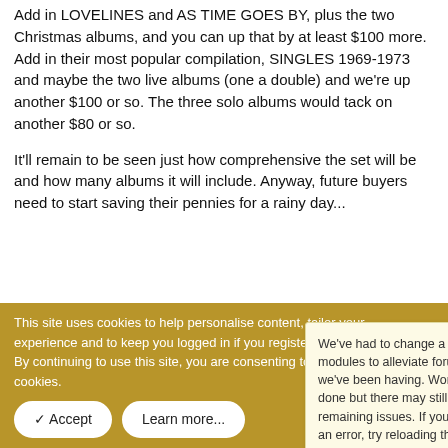Add in LOVELINES and AS TIME GOES BY, plus the two Christmas albums, and you can up that by at least $100 more. Add in their most popular compilation, SINGLES 1969-1973 and maybe the two live albums (one a double) and we're up another $100 or so. The three solo albums would tack on another $80 or so.
It'll remain to be seen just how comprehensive the set will be and how many albums it will include. Anyway, future buyers need to start saving their pennies for a rainy day...
👍 Kencarpenterfa...
[Figure (screenshot): Notification popup: 'We've had to change a few server modules to alleviate forum errors we've been having. Work is mostly done but there may still be a few remaining issues. If you encounter an error, try reloading the forum page.']
Simon K   Well-Known Member   Thread Starter
This site uses cookies to help personalise content, tailor your experience and to keep you logged in if you register.
By continuing to use this site, you are consenting to our use of cookies.